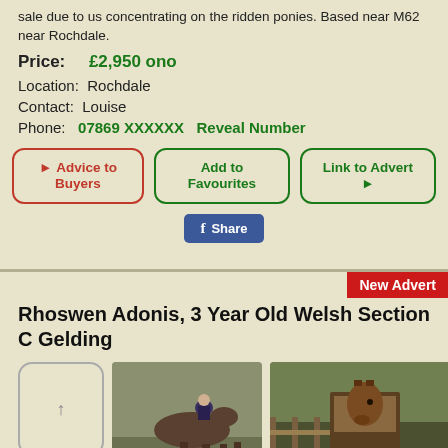sale due to us concentrating on the ridden ponies. Based near M62 near Rochdale.
Price: £2,950 ono
Location: Rochdale
Contact: Louise
Phone: 07869 XXXXXX   Reveal Number
Advice to Buyers | Add to Favourites | Link to Advert
Share
Rhoswen Adonis, 3 Year Old Welsh Section C Gelding
[Figure (photo): Placeholder image slot (arrow up icon), photo of horse with rider in yard, photo of chestnut horse in stable doorway]